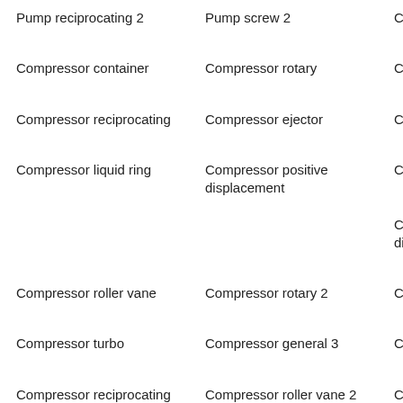Pump reciprocating 2
Pump screw 2
Compressor g
Compressor container
Compressor rotary
Compressor s
Compressor reciprocating
Compressor ejector
Compressor g
Compressor liquid ring
Compressor positive displacement
Compressor r
Compressor r diaphragm
Compressor roller vane
Compressor rotary 2
Compressor s
Compressor turbo
Compressor general 3
Compressor r
Compressor reciprocating diaphragm 2
Compressor roller vane 2
Compressor r